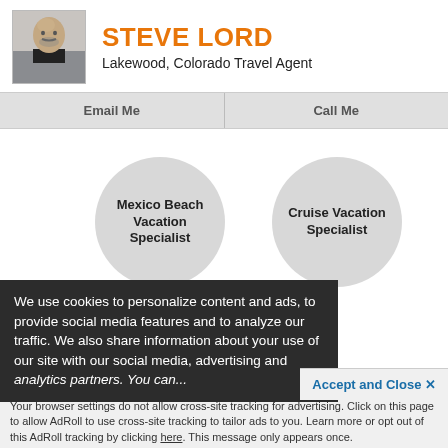STEVE LORD
Lakewood, Colorado Travel Agent
Email Me | Call Me
[Figure (infographic): Two circular badge icons: 'Mexico Beach Vacation Specialist' and 'Cruise Vacation Specialist', plus a partial third circle at the bottom]
We use cookies to personalize content and ads, to provide social media features and to analyze our traffic. We also share information about your use of our site with our social media, advertising and analytics partners. You can...
Accept and Close ×
Your browser settings do not allow cross-site tracking for advertising. Click on this page to allow AdRoll to use cross-site tracking to tailor ads to you. Learn more or opt out of this AdRoll tracking by clicking here. This message only appears once.